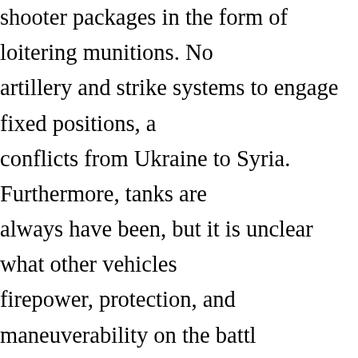shooter packages in the form of loitering munitions. No artillery and strike systems to engage fixed positions, a conflicts from Ukraine to Syria. Furthermore, tanks are always have been, but it is unclear what other vehicles firepower, protection, and maneuverability on the battle The war illustrates that in an offensive, or counter-offer being in a heavily armored vehicle is being outside of c be the most survivable vehicle, given the small warhea These munitions often disable or mission kill the vehic anything other than a direct hit. Much of the hand-wrin from watching these conflicts stems from the epiphany casualties on the modern battlefield, especially among boutique capabilities that cannot be lost in large quanti support to maneuver units are important. Compared to Western ground units feature poor availability of air de the expectations that existing air defenses or tactical av counter unmanned systems are probably unfounded. A problem. Drones are relatively cheap, and this military than cost-effective air defense or electronic warfare su